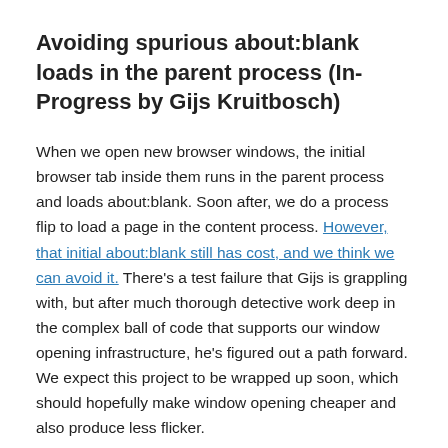Avoiding spurious about:blank loads in the parent process (In-Progress by Gijs Kruitbosch)
When we open new browser windows, the initial browser tab inside them runs in the parent process and loads about:blank. Soon after, we do a process flip to load a page in the content process. However, that initial about:blank still has cost, and we think we can avoid it. There's a test failure that Gijs is grappling with, but after much thorough detective work deep in the complex ball of code that supports our window opening infrastructure, he's figured out a path forward. We expect this project to be wrapped up soon, which should hopefully make window opening cheaper and also produce less flicker.
Load Activity Stream scripts from